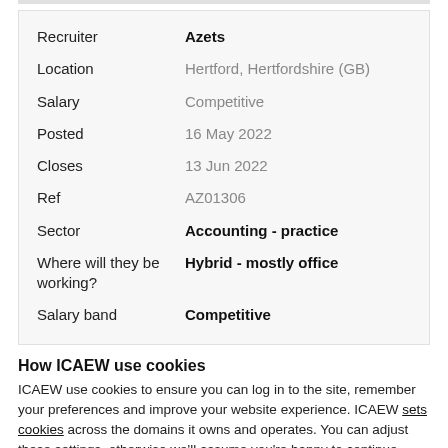| Field | Value |
| --- | --- |
| Recruiter | Azets |
| Location | Hertford, Hertfordshire (GB) |
| Salary | Competitive |
| Posted | 16 May 2022 |
| Closes | 13 Jun 2022 |
| Ref | AZ01306 |
| Sector | Accounting - practice |
| Where will they be working? | Hybrid - mostly office |
| Salary band | Competitive |
How ICAEW use cookies
ICAEW use cookies to ensure you can log in to the site, remember your preferences and improve your website experience. ICAEW sets cookies across the domains it owns and operates. You can adjust these settings, otherwise we'll assume you're happy to continue.